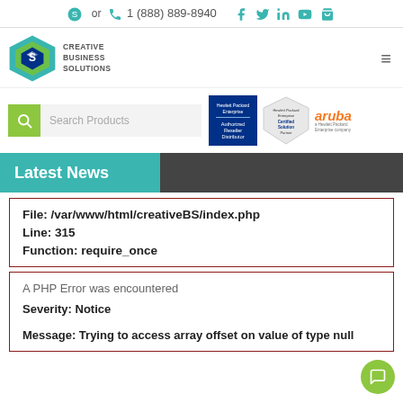or 1 (888) 889-8940 [social icons: facebook, twitter, linkedin, youtube, cart]
[Figure (logo): Creative Business Solutions hexagon logo with CBS initials and company name text]
Search Products
[Figure (logo): Hewlett Packard Enterprise Authorized Reseller Distributor badge, Hewlett Packard Enterprise Certified Solution badge, Aruba an HPE company logo]
Latest News
File: /var/www/html/creativeBS/index.php
Line: 315
Function: require_once
A PHP Error was encountered
Severity: Notice
Message: Trying to access array offset on value of type null